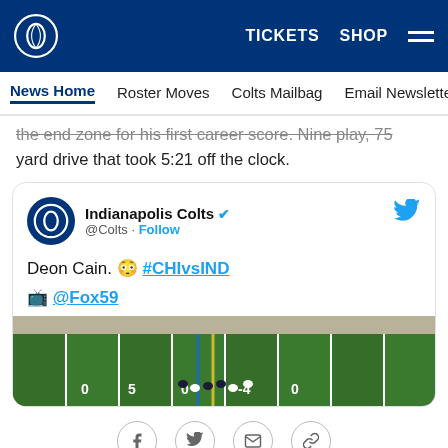Indianapolis Colts website header with logo, TICKETS, SHOP, and menu
News Home | Roster Moves | Colts Mailbag | Email Newsletter | U
the end zone for his first career score. Nine play, 75 yard drive that took 5:21 off the clock.
[Figure (screenshot): Embedded tweet from Indianapolis Colts (@Colts) with tweet text: Deon Cain. 😳 #CHIvsIND 📺 @Fox59, followed by a football field aerial photo]
Share buttons: Facebook, Twitter, Email, Link